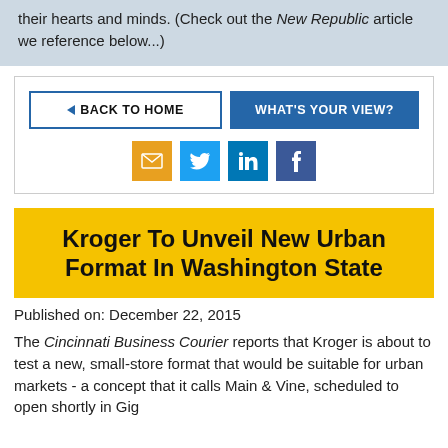their hearts and minds. (Check out the New Republic article we reference below...)
[Figure (other): Navigation bar with 'Back to Home' button (outlined, with arrow icon) and 'What's Your View?' button (blue filled), plus social share icons: email (orange), Twitter (blue), LinkedIn (blue), Facebook (dark blue)]
Kroger To Unveil New Urban Format In Washington State
Published on: December 22, 2015
The Cincinnati Business Courier reports that Kroger is about to test a new, small-store format that would be suitable for urban markets - a concept that it calls Main & Vine, scheduled to open shortly in Gig